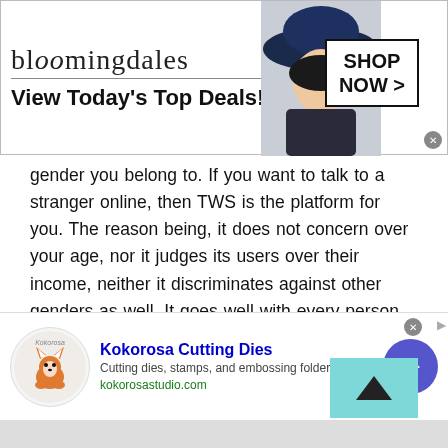[Figure (screenshot): Bloomingdale's advertisement banner: logo text 'bloomingdales', tagline 'View Today's Top Deals!', woman in a large blue hat, 'SHOP NOW >' button in a box, close X button]
gender you belong to. If you want to talk to a stranger online, then TWS is the platform for you. The reason being, it does not concern over your age, nor it judges its users over their income, neither it discriminates against other genders as well. It goes well with every person. If you are a teenager, it can help you make new friends in your neighborhood, if you are an adult and love to travel, then you can video chat with multiple people of Yemen to gain knowledge about the tourist destinations in Yemen.
[Figure (screenshot): Kokorosa Cutting Dies advertisement: logo with fox mascot, brand name 'Kokorosa Cutting Dies', description 'Cutting dies, stamps, and embossing folders', URL 'kokorosastudio.com', close X button, arrow navigation button, blue circle arrow button]